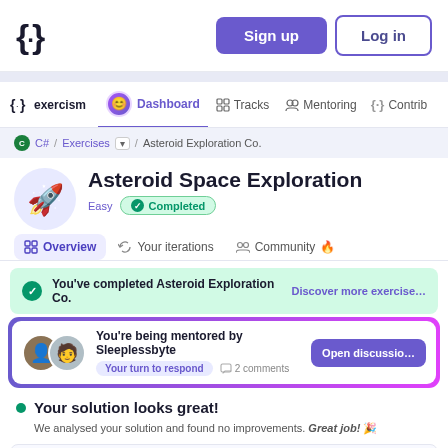Sign up | Log in
{·} exercism | Dashboard | Tracks | Mentoring | Contrib…
C# / Exercises / Asteroid Exploration Co.
Asteroid Space Exploration
Easy | Completed
Overview | Your iterations | Community
You've completed Asteroid Exploration Co. | Discover more exercise…
You're being mentored by Sleeplessbyte
Your turn to respond | 2 comments | Open discussio…
Your solution looks great!
We analysed your solution and found no improvements. Great job! 🎉
Iteration 3 | latest